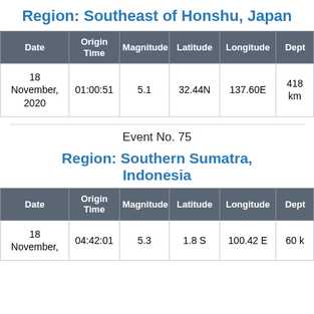Region: Southeast of Honshu, Japan
| Date | Origin Time | Magnitude | Latitude | Longitude | Depth |
| --- | --- | --- | --- | --- | --- |
| 18 November, 2020 | 01:00:51 | 5.1 | 32.44N | 137.60E | 418 km |
Event No. 75
Region: Southern Sumatra, Indonesia
| Date | Origin Time | Magnitude | Latitude | Longitude | Depth |
| --- | --- | --- | --- | --- | --- |
| 18 November, | 04:42:01 | 5.3 | 1.8 S | 100.42 E | 60 k |